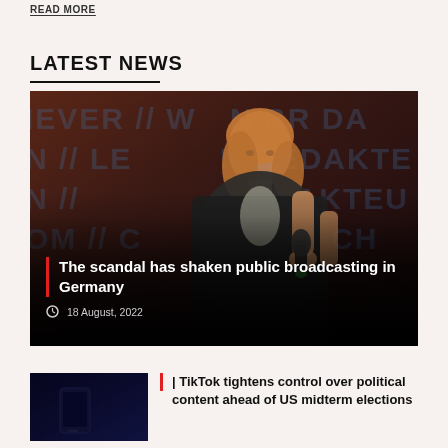READ MORE
LATEST NEWS
[Figure (photo): Woman with blonde hair speaking into a microphone on stage with a dark red background showing blue text letters]
The scandal has shaken public broadcasting in Germany
18 August, 2022
[Figure (photo): Dark thumbnail image showing a smartphone or device in dim lighting]
TikTok tightens control over political content ahead of US midterm elections